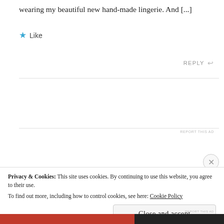wearing my beautiful new hand-made lingerie. And [...]
Like
REPLY ↩
REPORT THIS AD
Privacy & Cookies: This site uses cookies. By continuing to use this website, you agree to their use.
To find out more, including how to control cookies, see here: Cookie Policy
Close and accept